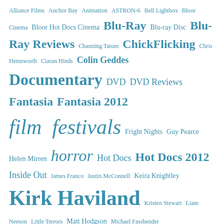[Figure (infographic): Tag cloud with film/media related terms in varying sizes and shades of teal/blue, including terms like Alliance Films, Anchor Bay, Animation, ASTRON-6, Bell Lightbox, Bloor Cinema, Bloor Hot Docs Cinema, Blu-Ray, Blu-ray Disc, Blu-Ray Reviews, Channing Tatum, ChickFlicking, Chris Hemsworth, Ciaran Hinds, Colin Geddes, Documentary, DVD, DVD Reviews, Fantasia, Fantasia 2012, film festivals, Fright Nights, Guy Pearce, Helen Mirren, horror, Hot Docs, Hot Docs 2012, Inside Out, James Franco, Justin McConnell, Keira Knightley, Kirk Haviland, Kristen Stewart, Liam Neeson, Little Terrors, Matt Hodgson, Michael Fassbender, Movie Reviews, Movies, Nadia Sandhu, Olga Kurylenko, Paolo Kagaoan, Park Chan-wook, Photo Review, Projection Booth, Rachel McAdams, Reel Asian 2012, Reviews, Rue Morgue, Scarlett Johansson, Sci-Fi, Shinsedai, Shinsedai Cinema Festival, Stephen McHattie, Steve Coogan, TAD, TAD 2012, TADFF, The Innkeepers, The Projection Booth, TIFF, TIFF 2011, TIFF 2012, Ti West, TKFF, Top]